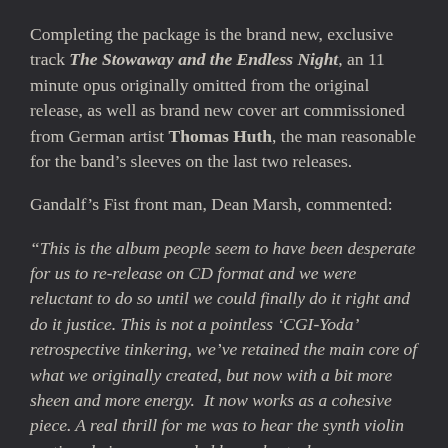Completing the package is the brand new, exclusive track The Stowaway and the Endless Night, an 11 minute opus originally omitted from the original release, as well as brand new cover art commissioned from German artist Thomas Huth, the man reasonable for the band's sleeves on the last two releases.
Gandalf's Fist front man, Dean Marsh, commented:
“This is the album people seem to have been desperate for us to re-release on CD format and we were reluctant to do so until we could finally do it right and do it justice. This is not a pointless ‘CGI-Yoda’ retrospective tinkering, we’ve retained the main core of what we originally created, but now with a bit more sheen and more energy.  It now works as a cohesive piece. A real thrill for me was to hear the synth violin sections being re recorded by orchestral